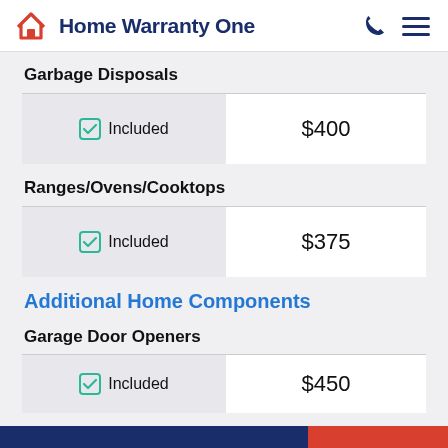Home Warranty One
Garbage Disposals
| Status | Limit |
| --- | --- |
| ✓ Included | $400 |
Ranges/Ovens/Cooktops
| Status | Limit |
| --- | --- |
| ✓ Included | $375 |
Additional Home Components
Garage Door Openers
| Status | Limit |
| --- | --- |
| ✓ Included | $450 |